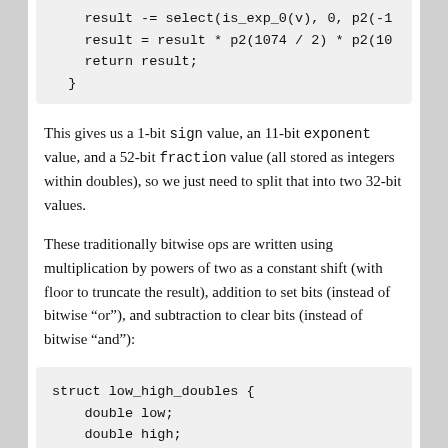[Figure (other): Code block (continuation) showing: result -= select(is_exp_0(v), 0, p2(-10...  result = result * p2(1074 / 2) * p2(10...  return result;  }]
This gives us a 1-bit sign value, an 11-bit exponent value, and a 52-bit fraction value (all stored as integers within doubles), so we just need to split that into two 32-bit values.
These traditionally bitwise ops are written using multiplication by powers of two as a constant shift (with floor to truncate the result), addition to set bits (instead of bitwise "or"), and subtraction to clear bits (instead of bitwise "and"):
[Figure (other): Code block showing: struct low_high_doubles {  double low;  double high; };]